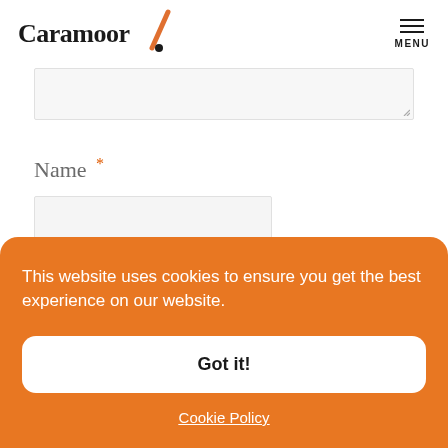Caramoor [logo with slash graphic] MENU
[Figure (other): Textarea input stub with resize handle in bottom right corner]
Name *
[Figure (other): Text input field for Name]
This website uses cookies to ensure you get the best experience on our website.
Got it!
Cookie Policy